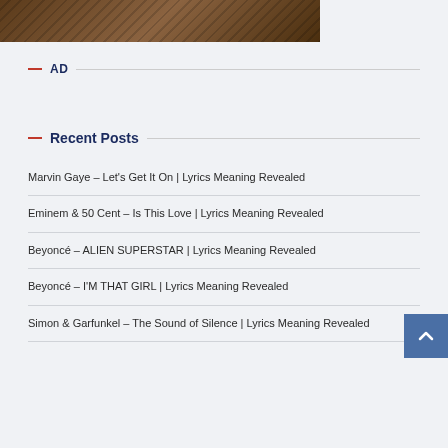[Figure (photo): Partial photo strip showing wooden surface with dark objects, cropped at top of page]
— AD
— Recent Posts
Marvin Gaye – Let's Get It On | Lyrics Meaning Revealed
Eminem & 50 Cent – Is This Love | Lyrics Meaning Revealed
Beyoncé – ALIEN SUPERSTAR | Lyrics Meaning Revealed
Beyoncé – I'M THAT GIRL | Lyrics Meaning Revealed
Simon & Garfunkel – The Sound of Silence | Lyrics Meaning Revealed